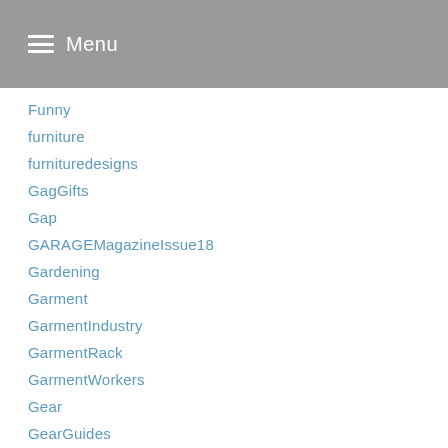Menu
Funny
furniture
furnituredesigns
GagGifts
Gap
GARAGEMagazineIssue18
Gardening
Garment
GarmentIndustry
GarmentRack
GarmentWorkers
Gear
GearGuides
General
GeneralTips
GetBasicReviews
getoutside